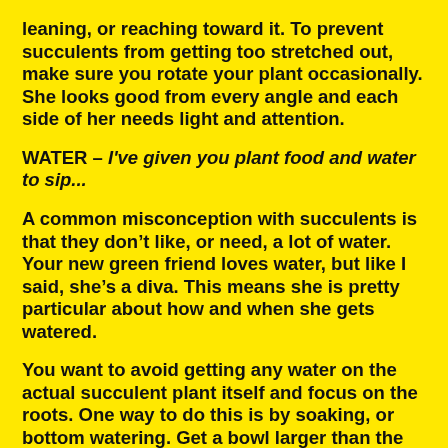leaning, or reaching toward it. To prevent succulents from getting too stretched out, make sure you rotate your plant occasionally. She looks good from every angle and each side of her needs light and attention.
WATER – I've given you plant food and water to sip...
A common misconception with succulents is that they don't like, or need, a lot of water. Your new green friend loves water, but like I said, she's a diva. This means she is pretty particular about how and when she gets watered.
You want to avoid getting any water on the actual succulent plant itself and focus on the roots. One way to do this is by soaking, or bottom watering. Get a bowl larger than the planter and fill with water. Place the planter into the bowl and allow your succulent to drink up through its drainage holes. Once the top of the soil is moist, take that baby out